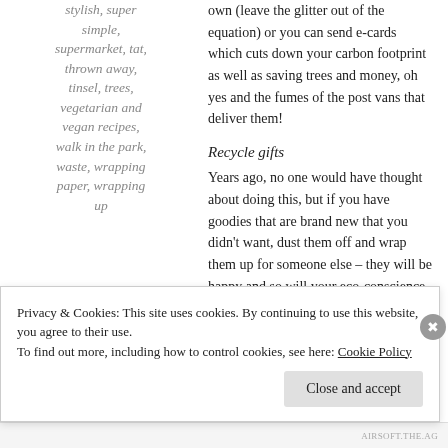stylish, super simple, supermarket, tat, thrown away, tinsel, trees, vegetarian and vegan recipes, walk in the park, waste, wrapping paper, wrapping up
own (leave the glitter out of the equation) or you can send e-cards which cuts down your carbon footprint as well as saving trees and money, oh yes and the fumes of the post vans that deliver them!
Recycle gifts
Years ago, no one would have thought about doing this, but if you have goodies that are brand new that you didn’t want, dust them off and wrap them up for someone else – they will be happy and so will your eco-conscience.
Wrapping paper
Speaking of wrapping up, this is a good one to thing
Privacy & Cookies: This site uses cookies. By continuing to use this website, you agree to their use.
To find out more, including how to control cookies, see here: Cookie Policy
Close and accept
AIRSOFT.THE.AG